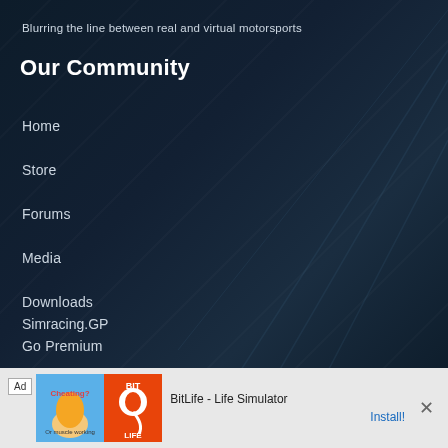Blurring the line between real and virtual motorsports
Our Community
Home
Store
Forums
Media
Downloads
Go Premium
Simracing.GP
RD Racing Clubs
[Figure (screenshot): Advertisement banner: Ad label, BitLife game promotional image with muscular arm and sperm logo, text 'BitLife - Life Simulator', Install button]